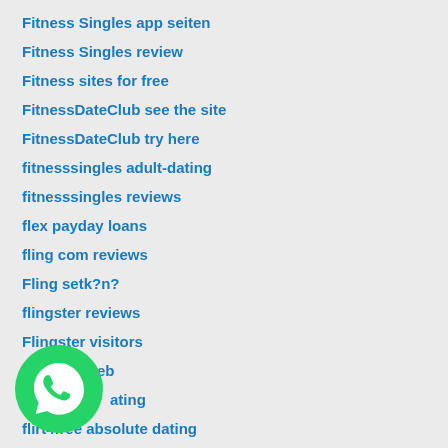Fitness Singles app seiten
Fitness Singles review
Fitness sites for free
FitnessDateClub see the site
FitnessDateClub try here
fitnesssingles adult-dating
fitnesssingles reviews
flex payday loans
fling com reviews
Fling setk?n?
flingster reviews
Flingster visitors
flingster web
ating
flirt4free absolute dating
[Figure (logo): WhatsApp green phone logo icon]